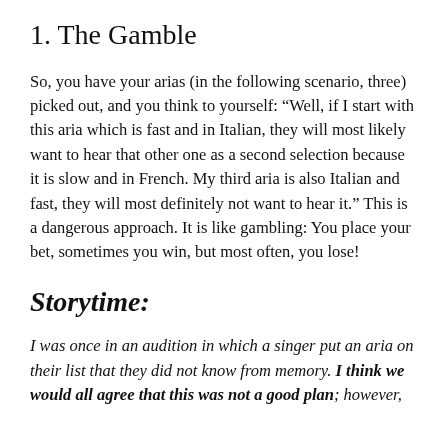1. The Gamble
So, you have your arias (in the following scenario, three) picked out, and you think to yourself: “Well, if I start with this aria which is fast and in Italian, they will most likely want to hear that other one as a second selection because it is slow and in French. My third aria is also Italian and fast, they will most definitely not want to hear it.” This is a dangerous approach. It is like gambling: You place your bet, sometimes you win, but most often, you lose!
Storytime:
I was once in an audition in which a singer put an aria on their list that they did not know from memory. I think we would all agree that this was not a good plan; however,